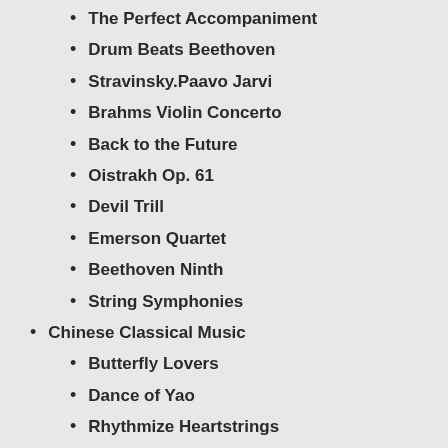The Perfect Accompaniment
Drum Beats Beethoven
Stravinsky.Paavo Jarvi
Brahms Violin Concerto
Back to the Future
Oistrakh Op. 61
Devil Trill
Emerson Quartet
Beethoven Ninth
String Symphonies
Chinese Classical Music
Butterfly Lovers
Dance of Yao
Rhythmize Heartstrings
Little Sisters of the Grassland